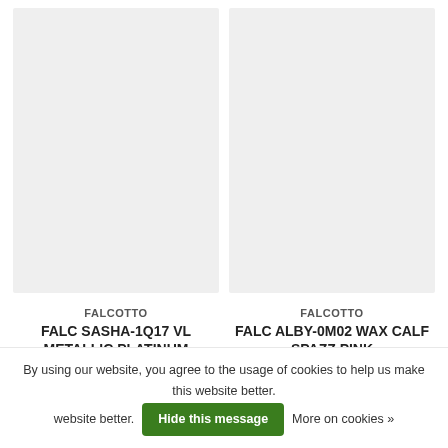[Figure (photo): Product image placeholder for FALC SASHA-1Q17 VL METALLIC PLATINUM, light grey rectangle]
FALCOTTO
FALC SASHA-1Q17 VL METALLIC PLATINUM
C$104.99
[Figure (photo): Product image placeholder for FALC ALBY-0M02 WAX CALF SPAZZ PINK, light grey rectangle]
FALCOTTO
FALC ALBY-0M02 WAX CALF SPAZZ PINK
C$72.99
By using our website, you agree to the usage of cookies to help us make this website better. Hide this message More on cookies »